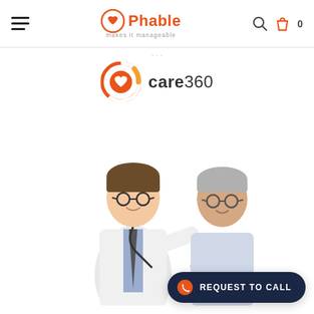Phable makes it manageable
[Figure (logo): Care360 logo with orange circular icon containing a heart]
[Figure (photo): A young male doctor in white coat with stethoscope examining an elderly male patient, both smiling, white background]
REQUEST TO CALL